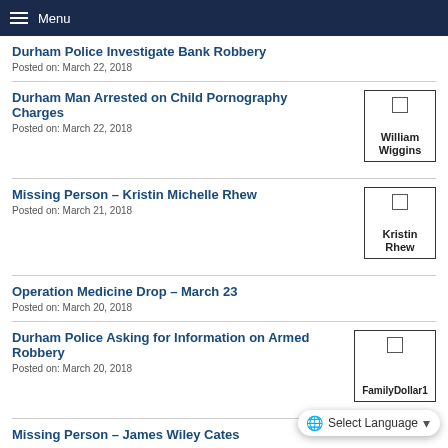Menu
Durham Police Investigate Bank Robbery
Posted on: March 22, 2018
Durham Man Arrested on Child Pornography Charges
Posted on: March 22, 2018
[Figure (photo): Thumbnail image labeled William Wiggins with checkbox]
Missing Person – Kristin Michelle Rhew
Posted on: March 21, 2018
[Figure (photo): Thumbnail image labeled Kristin Rhew with checkbox]
Operation Medicine Drop – March 23
Posted on: March 20, 2018
Durham Police Asking for Information on Armed Robbery
Posted on: March 20, 2018
[Figure (photo): Thumbnail image labeled FamilyDollar1 with checkbox]
Missing Person – James Wiley Cates